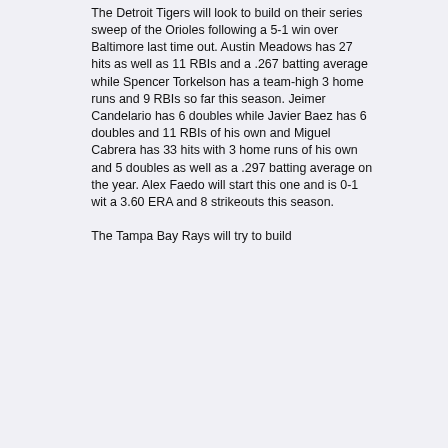The Detroit Tigers will look to build on their series sweep of the Orioles following a 5-1 win over Baltimore last time out. Austin Meadows has 27 hits as well as 11 RBIs and a .267 batting average while Spencer Torkelson has a team-high 3 home runs and 9 RBIs so far this season. Jeimer Candelario has 6 doubles while Javier Baez has 6 doubles and 11 RBIs of his own and Miguel Cabrera has 33 hits with 3 home runs of his own and 5 doubles as well as a .297 batting average on the year. Alex Faedo will start this one and is 0-1 wit a 3.60 ERA and 8 strikeouts this season.
The Tampa Bay Rays will try to build